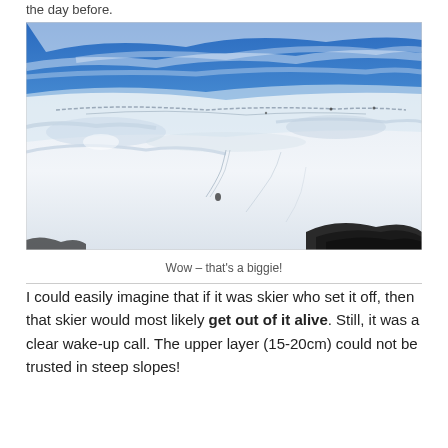the day before.
[Figure (photo): A wide snow-covered mountain slope under a blue sky with wispy clouds. The slope shows signs of avalanche activity with a fracture line visible near the top. Ski tracks are visible in the lower portion of the snow field. Dark rocks appear in the foreground bottom-right corner.]
Wow – that's a biggie!
I could easily imagine that if it was skier who set it off, then that skier would most likely get out of it alive. Still, it was a clear wake-up call. The upper layer (15-20cm) could not be trusted in steep slopes!